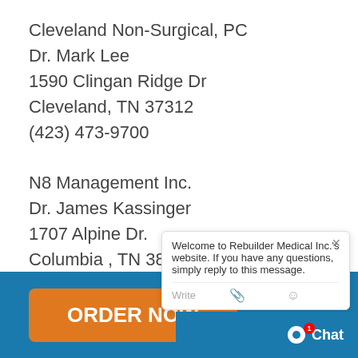Cleveland Non-Surgical, PC
Dr. Mark Lee
1590 Clingan Ridge Dr
Cleveland, TN 37312
(423) 473-9700
N8 Management Inc.
Dr. James Kassinger
1707 Alpine Dr.
Columbia , TN 38401
(931) 548-8132
Tennessee Valley Clinic of Chiropractic
Dr. Kevin J. Moore